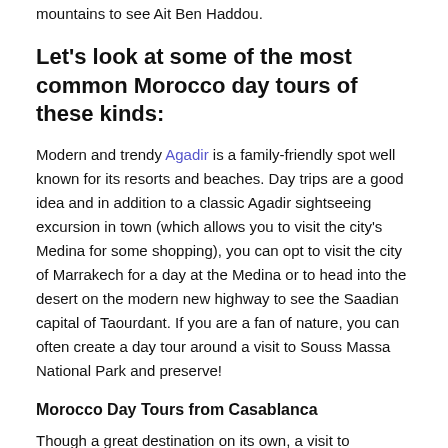mountains to see Ait Ben Haddou.
Let's look at some of the most common Morocco day tours of these kinds:
Modern and trendy Agadir is a family-friendly spot well known for its resorts and beaches. Day trips are a good idea and in addition to a classic Agadir sightseeing excursion in town (which allows you to visit the city's Medina for some shopping), you can opt to visit the city of Marrakech for a day at the Medina or to head into the desert on the modern new highway to see the Saadian capital of Taourdant. If you are a fan of nature, you can often create a day tour around a visit to Souss Massa National Park and preserve!
Morocco Day Tours from Casablanca
Though a great destination on its own, a visit to Casablanca places you in a convenient location for many adventures. You can easily enjoy a day tour to the capital